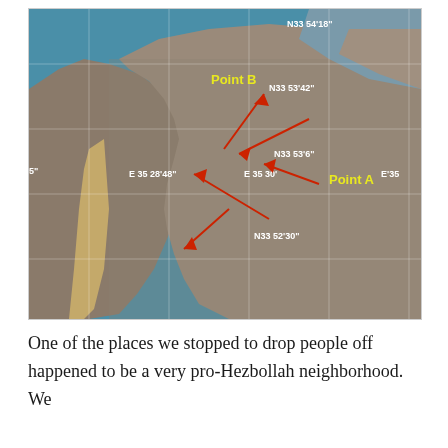[Figure (map): Satellite aerial map of a coastal city (Beirut area) with grid lines, coordinate labels in white (N33 54'18", N33 53'42", N33 53'6, E 35 28'48", E 35 30', E35, N33 52'30"), two yellow text labels 'Point B' and 'Point A', and multiple red arrows pointing to various locations on the map.]
One of the places we stopped to drop people off happened to be a very pro-Hezbollah neighborhood. We